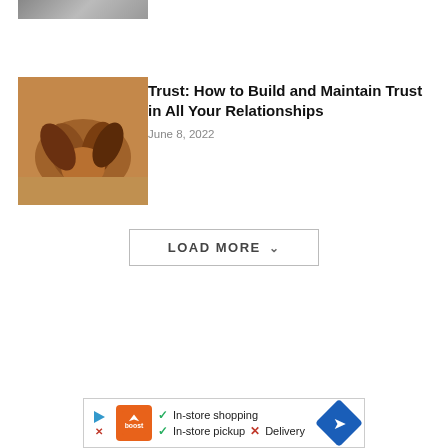[Figure (photo): Partial view of a photo at the top of the page, cropped]
[Figure (photo): Hands clasped together in trust or unity gesture, warm orange-brown tones]
Trust: How to Build and Maintain Trust in All Your Relationships
June 8, 2022
LOAD MORE
[Figure (other): Advertisement banner: Boost Mobile ad showing In-store shopping, In-store pickup checkmarks, Delivery with X mark, and navigation arrow icon]